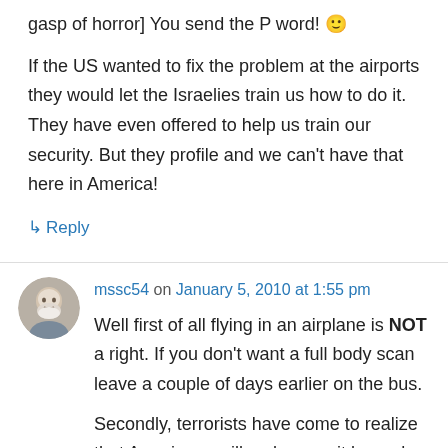gasp of horror] You send the P word! 🙂
If the US wanted to fix the problem at the airports they would let the Israelies train us how to do it. They have even offered to help us train our security. But they profile and we can't have that here in America!
↳ Reply
mssc54 on January 5, 2010 at 1:55 pm
Well first of all flying in an airplane is NOT a right. If you don't want a full body scan leave a couple of days earlier on the bus.
Secondly, terrorists have come to realize that Americans will no longer sit by and allow their